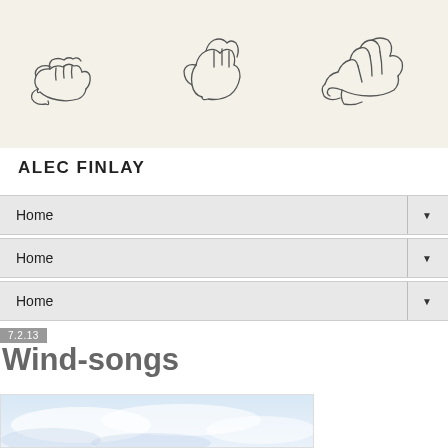[Figure (illustration): Three hand-drawn sketches of hands/fists in a row on a beige/cream background]
ALEC FINLAY
Home ▼
Home ▼
Home ▼
7.2.13
Wind-songs
[Figure (photo): Partial view of a sky with light blue and white clouds, cropped at bottom of page]